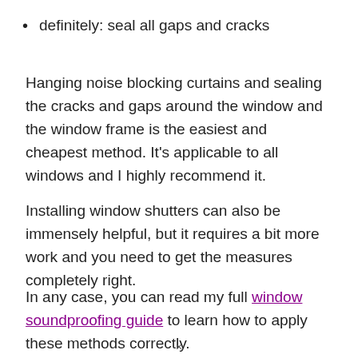definitely: seal all gaps and cracks
Hanging noise blocking curtains and sealing the cracks and gaps around the window and the window frame is the easiest and cheapest method. It's applicable to all windows and I highly recommend it.
Installing window shutters can also be immensely helpful, but it requires a bit more work and you need to get the measures completely right.
In any case, you can read my full window soundproofing guide to learn how to apply these methods correctly.